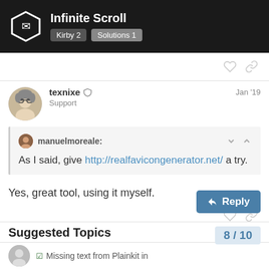Infinite Scroll | Kirby 2 | Solutions 1
texnixe  Support  Jan '19
Quote from manuelmoreale: As I said, give http://realfavicongenerator.net/ a try.
Yes, great tool, using it myself.
Suggested Topics
Missing text from Plainkit in...
8 / 10